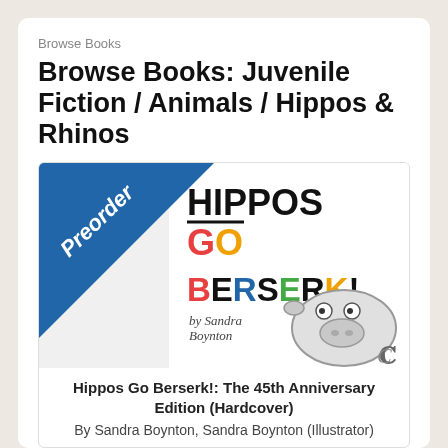Browse Books
Browse Books: Juvenile Fiction / Animals / Hippos & Rhinos
[Figure (illustration): Book cover for 'Hippos Go Berserk!' showing a cartoon hippo and large bold text. A blue diagonal banner in the upper left corner reads 'Preorder' in white script. The book title 'HIPPOS GO BERSERK!' appears in large multicolor bold letters with 'by Sandra Boynton' in script underneath.]
Hippos Go Berserk!: The 45th Anniversary Edition (Hardcover)
By Sandra Boynton, Sandra Boynton (Illustrator)